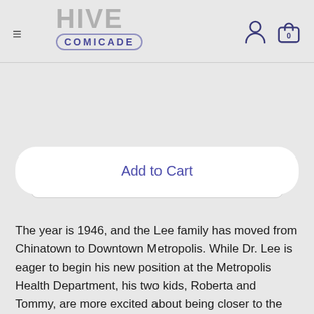[Figure (logo): Hive Comicade logo with hamburger menu icon on the left and person/shopping bag icons on the right]
Quantity
1
Add to Cart
The year is 1946, and the Lee family has moved from Chinatown to Downtown Metropolis. While Dr. Lee is eager to begin his new position at the Metropolis Health Department, his two kids, Roberta and Tommy, are more excited about being closer to the famous superhero Superman! Tommy adjusts quickly to the fast